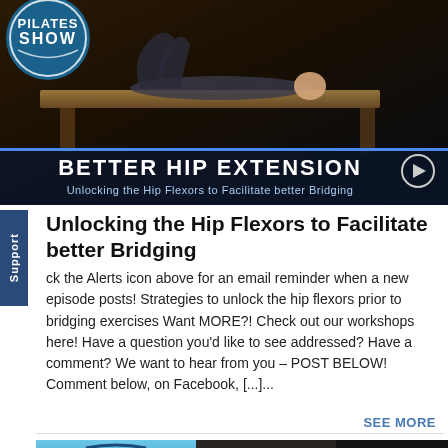[Figure (screenshot): Video thumbnail showing a person lying on a Pilates reformer doing a bridging exercise. Blue Pilates Show logo in top left. Dark overlay at bottom with title text. Play button circle on right side.]
Unlocking the Hip Flexors to Facilitate better Bridging
ck the Alerts icon above for an email reminder when a new episode posts! Strategies to unlock the hip flexors prior to bridging exercises Want MORE?! Check out our workshops here! Have a question you’d like to see addressed? Have a comment? We want to hear from you – POST BELOW! Comment below, on Facebook, […]...
SEE MORE
[Figure (screenshot): Partial view of second video thumbnail showing The Pilates Show logo (blue arc design) on left panel and Fusion Pilates Edu logo on right panel.]